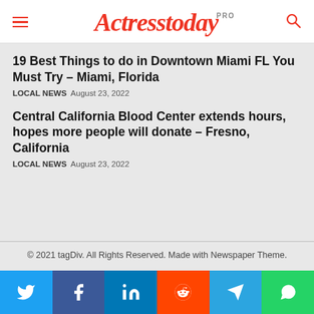Actresstoday PRO
19 Best Things to do in Downtown Miami FL You Must Try – Miami, Florida
LOCAL NEWS  August 23, 2022
Central California Blood Center extends hours, hopes more people will donate – Fresno, California
LOCAL NEWS  August 23, 2022
© 2021 tagDiv. All Rights Reserved. Made with Newspaper Theme.
[Figure (other): Social media sharing buttons: Twitter, Facebook, LinkedIn, Reddit, Telegram, WhatsApp]